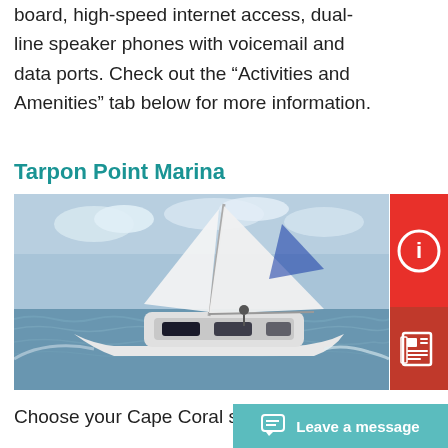board, high-speed internet access, dual-line speaker phones with voicemail and data ports. Check out the “Activities and Amenities” tab below for more information.
Tarpon Point Marina
[Figure (photo): A white catamaran sailboat with large white and blue sails sailing on choppy open water under a partly cloudy sky.]
Choose your Cape Coral sailing c…